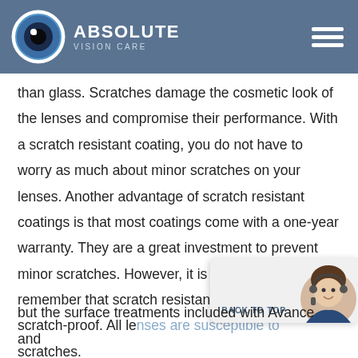ABSOLUTE VISION CARE
than glass. Scratches damage the cosmetic look of the lenses and compromise their performance. With a scratch resistant coating, you do not have to worry as much about minor scratches on your lenses. Another advantage of scratch resistant coatings is that most coatings come with a one-year warranty. They are a great investment to prevent minor scratches. However, it is important to remember that scratch resistant does not mean scratch-proof. All lenses are susceptible to scratches.
[Figure (photo): Customer service agent photo thumbnail in chat widget overlay]
but the surface treatments included with Avance and